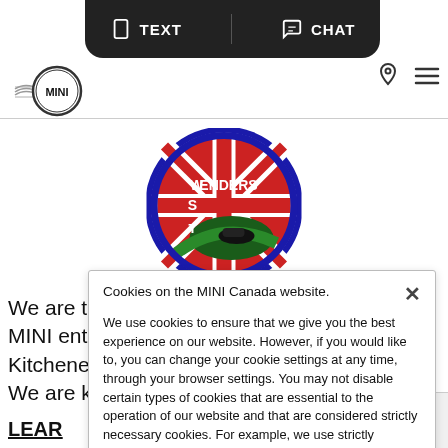[Figure (screenshot): MINI Canada website screenshot showing top navigation bar with TEXT and CHAT buttons, MINI logo, location icon, hamburger menu icon, West-Enders MINI Club circular logo with British flag design, partial body text about the club, and a cookie consent popup overlay]
We are the West-Enders MINI Club bringing MINI enthusiasts together from our home in Kitchener, Ontario to all over North America. We are known for our
LEAR
FO
Lon
Cookies on the MINI Canada website.
We use cookies to ensure that we give you the best experience on our website. However, if you would like to, you can change your cookie settings at any time, through your browser settings. You may not disable certain types of cookies that are essential to the operation of our website and that are considered strictly necessary cookies. For example, we use strictly necessary cookies to provide you with regional pricing information. You can find detailed information about how cookies are used on this website by clicking here.